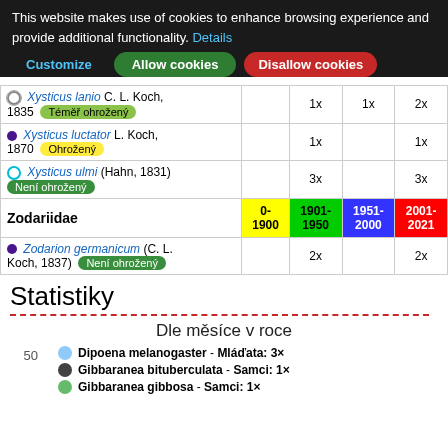This website makes use of cookies to enhance browsing experience and provide additional functionality. Details
Customize | Allow cookies | Disallow cookies
| Species | 0-1900 | 1901-1950 | 1951-2000 | 2001-2021 |
| --- | --- | --- | --- | --- |
| Xysticus lanio C. L. Koch, 1835 [Téměř ohrožený] |  | 1x | 1x | 2x |
| Xysticus luctator L. Koch, 1870 [Ohrožený] |  | 1x |  | 1x |
| Xysticus ulmi (Hahn, 1831) [Není ohrožený] |  | 3x |  | 3x |
| Zodariidae header | 0-1900 | 1901-1950 | 1951-2000 | 2001-2021 |
| Zodarion germanicum (C. L. Koch, 1837) [Není ohrožený] |  | 2x |  | 2x |
Statistiky
Dle měsíce v roce
[Figure (other): Bar chart legend showing: Dipoena melanogaster - Mláďata: 3×, Gibbaranea bituberculata - Samci: 1×, Gibbaranea gibbosa - Samci: 1×]